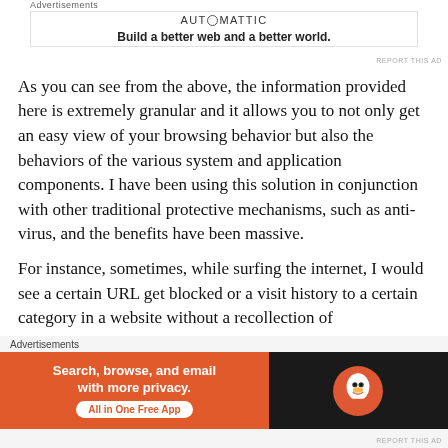Advertisements
[Figure (other): Automattic advertisement: logo text AUTOMATTIC with circular O, tagline 'Build a better web and a better world.']
REPORT THIS AD
As you can see from the above, the information provided here is extremely granular and it allows you to not only get an easy view of your browsing behavior but also the behaviors of the various system and application components. I have been using this solution in conjunction with other traditional protective mechanisms, such as anti-virus, and the benefits have been massive.
For instance, sometimes, while surfing the internet, I would see a certain URL get blocked or a visit history to a certain category in a website without a recollection of
Advertisements
[Figure (other): DuckDuckGo advertisement banner: orange and dark background, text 'Search, browse, and email with more privacy. All in One Free App' with DuckDuckGo logo]
REPORT THIS AD